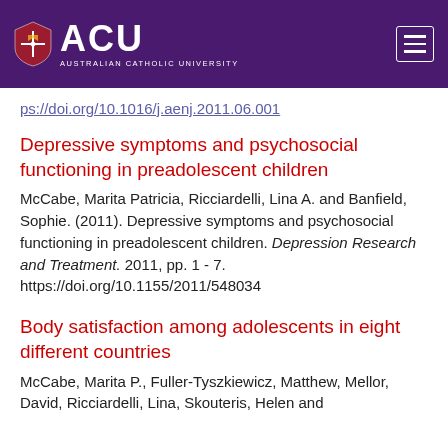ACU — Australian Catholic University
ps://doi.org/10.1016/j.aenj.2011.06.001
Depressive symptoms and psychosocial functioning in preadolescent children
McCabe, Marita Patricia, Ricciardelli, Lina A. and Banfield, Sophie. (2011). Depressive symptoms and psychosocial functioning in preadolescent children. Depression Research and Treatment. 2011, pp. 1 - 7. https://doi.org/10.1155/2011/548034
Body satisfaction among adolescents in eight different countries
McCabe, Marita P., Fuller-Tyszkiewicz, Matthew, Mellor, David, Ricciardelli, Lina, Skouteris, Helen and